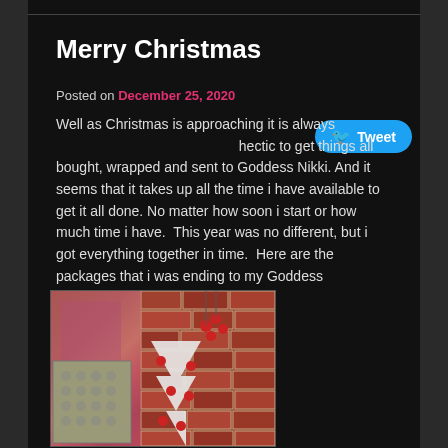Merry Christmas
Posted on December 25, 2020
Well as Christmas is approaching it is always hectic to get things all bought, wrapped and sent to Goddess Nikki. And it seems that it takes up all the time i have available to get it all done. No matter how soon i start or how much time i have.  This year was no different, but i got everything together in time.  Here are the packages that i was ending to my Goddess
[Figure (photo): Photo of wrapped Christmas gift packages in front of a brick wall with a white Christmas tree decorated with red ornaments]